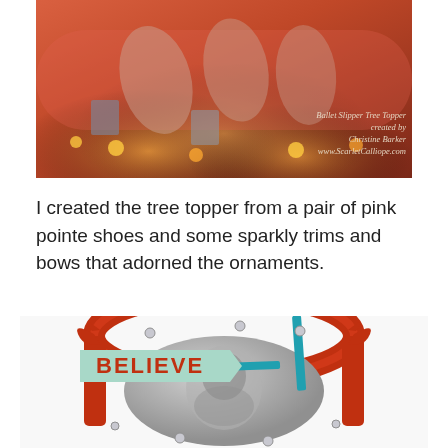[Figure (photo): Ballet slipper tree topper photograph showing pink pointe shoes with sparkly trims and ornaments lit with warm lights, with watermark text 'Ballet Slipper Tree Topper created by Christine Barker www.ScarletCalliope.com']
I created the tree topper from a pair of pink pointe shoes and some sparkly trims and bows that adorned the ornaments.
[Figure (photo): Red ornate baroque frame ornament with 'BELIEVE' tag in teal/mint color with red bold text, teal ribbon, small silver bells, and a black and white portrait photo inside the circular frame]